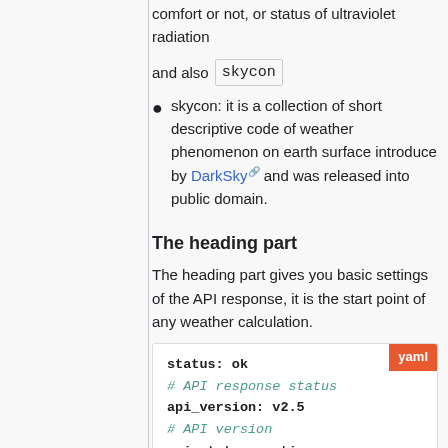comfort or not, or status of ultraviolet radiation
and also skycon
skycon: it is a collection of short descriptive code of weather phenomenon on earth surface introduce by DarkSky and was released into public domain.
The heading part
The heading part gives you basic settings of the API response, it is the start point of any weather calculation.
status: ok
# API response status
api_version: v2.5
# API version
api_status: active
# API status: alpha, beta,